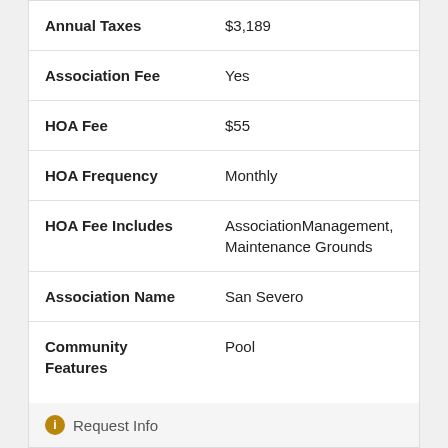| Field | Value |
| --- | --- |
| Annual Taxes | $3,189 |
| Association Fee | Yes |
| HOA Fee | $55 |
| HOA Frequency | Monthly |
| HOA Fee Includes | AssociationManagement, Maintenance Grounds |
| Association Name | San Severo |
| Community Features | Pool |
| Taxes | $3,189 |
Request Info